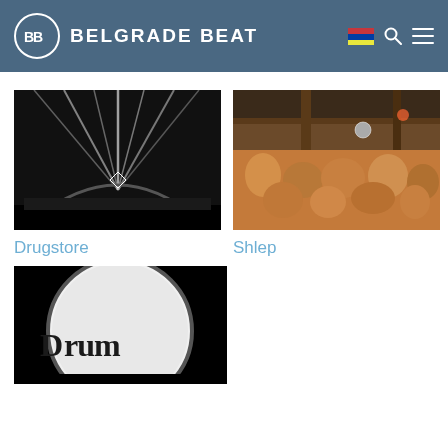BELGRADE BEAT
[Figure (photo): Black and white concert/festival stage photo with dramatic light beams radiating from stage]
Drugstore
[Figure (photo): Color photo of a crowded nightclub/outdoor party with people dancing under a wooden roof structure]
Shlep
[Figure (photo): Black and white close-up photo of a drum with the word 'Drum' visible on it]